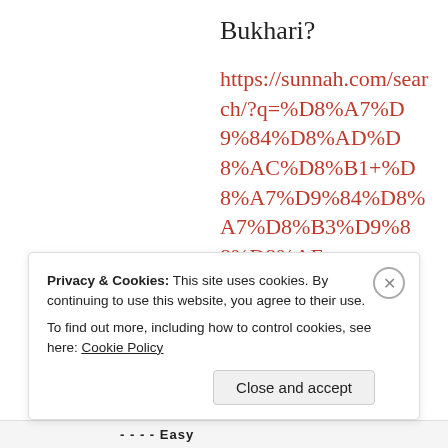Bukhari?
https://sunnah.com/search/?q=%D8%A7%D9%84%D8%AD%D8%AC%D8%B1+%D8%A7%D9%84%D8%A7%D8%B3%D9%88%D8%AF
★ Liked by 1 person
Privacy & Cookies: This site uses cookies. By continuing to use this website, you agree to their use.
To find out more, including how to control cookies, see here: Cookie Policy
Close and accept